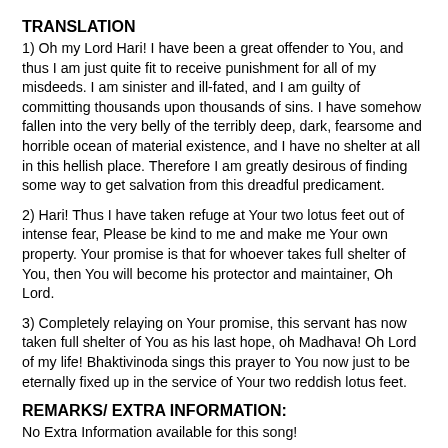TRANSLATION
1) Oh my Lord Hari! I have been a great offender to You, and thus I am just quite fit to receive punishment for all of my misdeeds. I am sinister and ill-fated, and I am guilty of committing thousands upon thousands of sins. I have somehow fallen into the very belly of the terribly deep, dark, fearsome and horrible ocean of material existence, and I have no shelter at all in this hellish place. Therefore I am greatly desirous of finding some way to get salvation from this dreadful predicament.
2) Hari! Thus I have taken refuge at Your two lotus feet out of intense fear, Please be kind to me and make me Your own property. Your promise is that for whoever takes full shelter of You, then You will become his protector and maintainer, Oh Lord.
3) Completely relaying on Your promise, this servant has now taken full shelter of You as his last hope, oh Madhava! Oh Lord of my life! Bhaktivinoda sings this prayer to You now just to be eternally fixed up in the service of Your two reddish lotus feet.
REMARKS/ EXTRA INFORMATION:
No Extra Information available for this song!
UPDATED: May 10, 2009